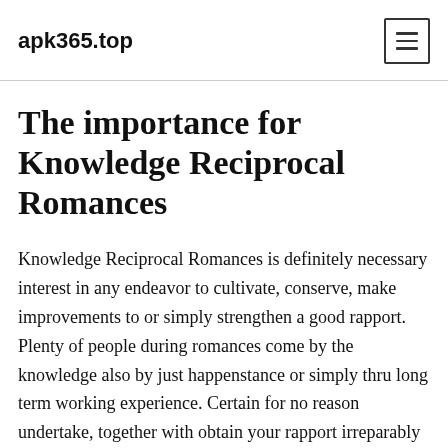apk365.top
The importance for Knowledge Reciprocal Romances
Knowledge Reciprocal Romances is definitely necessary interest in any endeavor to cultivate, conserve, make improvements to or simply strengthen a good rapport. Plenty of people during romances come by the knowledge also by just happenstance or simply thru long term working experience. Certain for no reason undertake, together with obtain your rapport irreparably